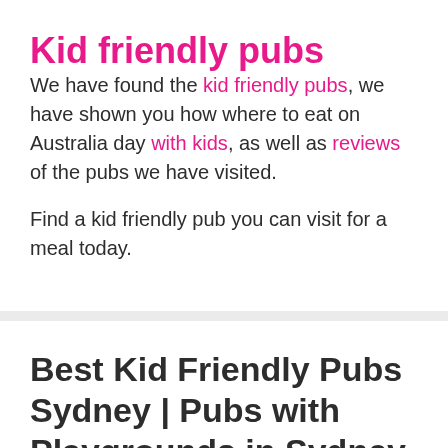Kid friendly pubs
We have found the kid friendly pubs, we have shown you how where to eat on Australia day with kids, as well as reviews of the pubs we have visited.
Find a kid friendly pub you can visit for a meal today.
Best Kid Friendly Pubs Sydney | Pubs with Playgrounds in Sydney